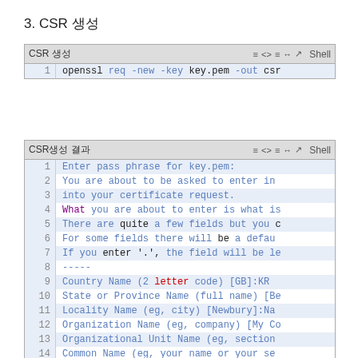3. CSR 생성
[Figure (screenshot): Terminal/shell code block showing: 1  openssl req -new -key key.pem -out csr]
[Figure (screenshot): Terminal/shell output block showing CSR generation prompts lines 1-19]